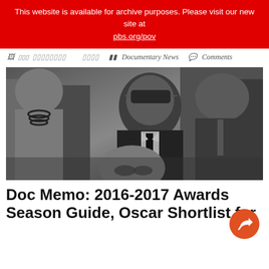This website is available for archive purposes. Please visit our new site at pbs.org/pov
Documentary News    Comments
[Figure (photo): Black and white photograph of James Baldwin wearing sunglasses and a suit with a dark tie, standing in a crowd of people at what appears to be a civil rights event or gathering.]
Doc Memo: 2016-2017 Awards Season Guide, Oscar Shortlist for